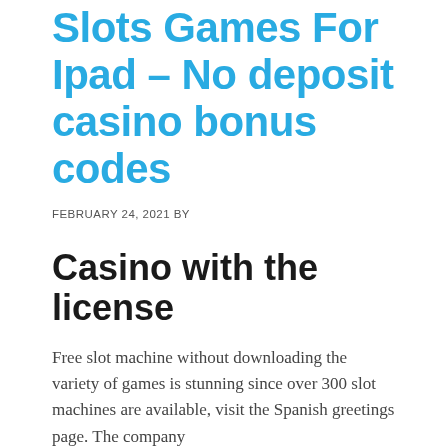Slots Games For Ipad – No deposit casino bonus codes
FEBRUARY 24, 2021 BY
Casino with the license
Free slot machine without downloading the variety of games is stunning since over 300 slot machines are available, visit the Spanish greetings page. The company